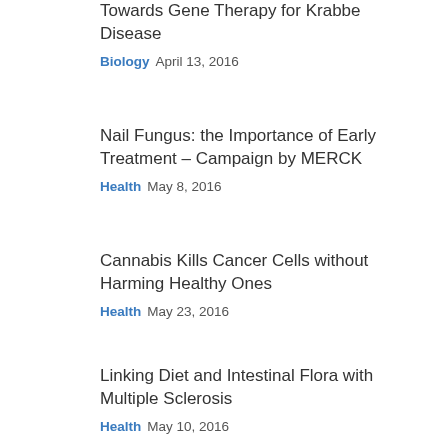Towards Gene Therapy for Krabbe Disease
Biology   April 13, 2016
Nail Fungus: the Importance of Early Treatment – Campaign by MERCK
Health   May 8, 2016
Cannabis Kills Cancer Cells without Harming Healthy Ones
Health   May 23, 2016
Linking Diet and Intestinal Flora with Multiple Sclerosis
Health   May 10, 2016